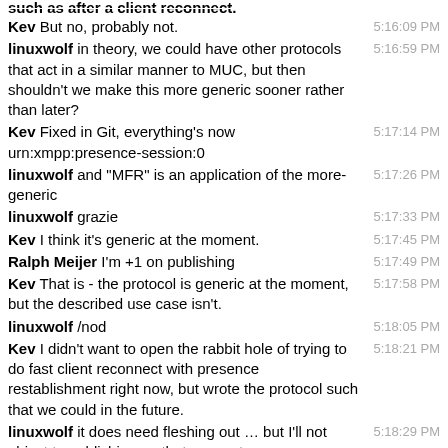Kev But no, probably not.
linuxwolf in theory, we could have other protocols that act in a similar manner to MUC, but then shouldn't we make this more generic sooner rather than later?
Kev Fixed in Git, everything's now urn:xmpp:presence-session:0
linuxwolf and "MFR" is an application of the more-generic
linuxwolf grazie
Kev I think it's generic at the moment.
Ralph Meijer I'm +1 on publishing
Kev That is - the protocol is generic at the moment, but the described use case isn't.
linuxwolf /nod
Kev I didn't want to open the rabbit hole of trying to do fast client reconnect with presence restablishment right now, but wrote the protocol such that we could in the future.
linuxwolf it does need fleshing out … but I'll not object to publishing on that account
Kev In which case, I think we'd extract the normative bits into another XEP, and reference that. It wouldn't affect implementations.
linuxwolf ok